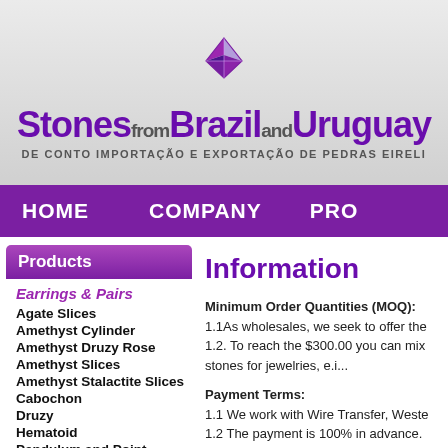[Figure (logo): Gem diamond logo above the Stones from Brazil and Uruguay wordmark]
Stones from Brazil and Uruguay — DE CONTO IMPORTAÇÃO E EXPORTAÇÃO DE PEDRAS EIRELI
HOME   COMPANY   PRO…
Products
Earrings & Pairs
Agate Slices
Amethyst Cylinder
Amethyst Druzy Rose
Amethyst Slices
Amethyst Stalactite Slices
Cabochon
Druzy
Hematoid
Pendulum and Point
Information
Minimum Order Quantities (MOQ):
1.1As wholesales, we seek to offer the
1.2. To reach the $300.00 you can mix
stones for jewelries, e.i...
Payment Terms:
1.1 We work with Wire Transfer, Weste
1.2 The payment is 100% in advance.
1.3 Payment fees:
- Paypal = 5% of the total amount
-Western Union =5% of the total amou